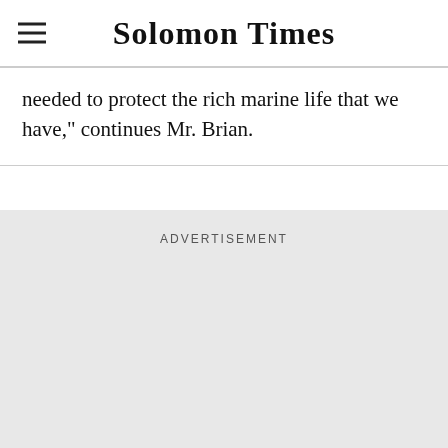Solomon Times
needed to protect the rich marine life that we have," continues Mr. Brian.
ADVERTISEMENT